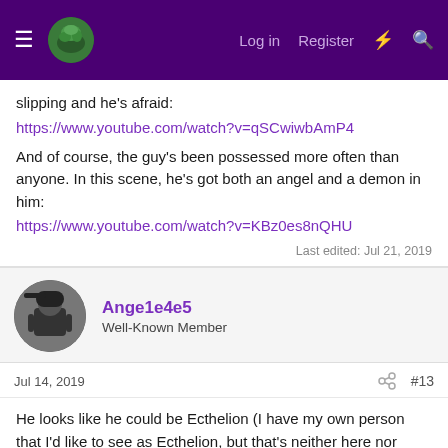☰ [logo] Log in  Register  ⚡ 🔍
slipping and he's afraid:
https://www.youtube.com/watch?v=qSCwiwbAmP4
And of course, the guy's been possessed more often than anyone. In this scene, he's got both an angel and a demon in him:
https://www.youtube.com/watch?v=KBz0es8nQHU
Last edited: Jul 21, 2019
Ange1e4e5
Well-Known Member
Jul 14, 2019
#13
He looks like he could be Ecthelion (I have my own person that I'd like to see as Ecthelion, but that's neither here nor there). I've suggested Dave Bautista to open the thread, and Rory McCann in the question section of the webinar in the most recent podcast. Also, isn't Phogrin supposed to be hunchbacked, so